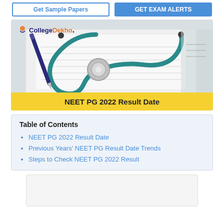[Figure (screenshot): Two buttons at top: 'Get Sample Papers' (outlined blue) and 'GET EXAM ALERTS' (solid blue)]
[Figure (photo): Medical photo showing a stethoscope, pen, and documents on a white background with CollegeDekho logo overlay and 'NEET PG 2022 Result Date' yellow banner at the bottom]
Table of Contents
NEET PG 2022 Result Date
Previous Years' NEET PG Result Date Trends
Steps to Check NEET PG 2022 Result
[Figure (other): Gray advertisement placeholder box at the bottom of the page]